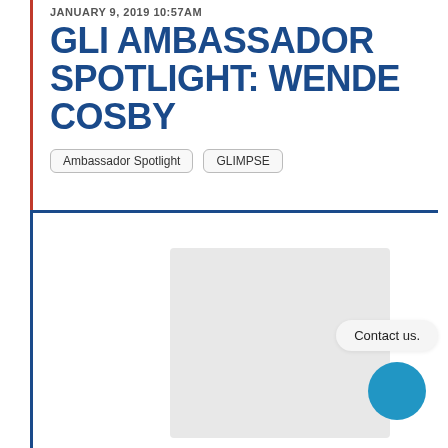JANUARY 9, 2019 10:57AM
GLI AMBASSADOR SPOTLIGHT: WENDE COSBY
Ambassador Spotlight
GLIMPSE
[Figure (photo): Professional headshot of Wende Cosby, a woman with long black hair, smiling, wearing dark clothing, against a light gray background.]
Contact us.